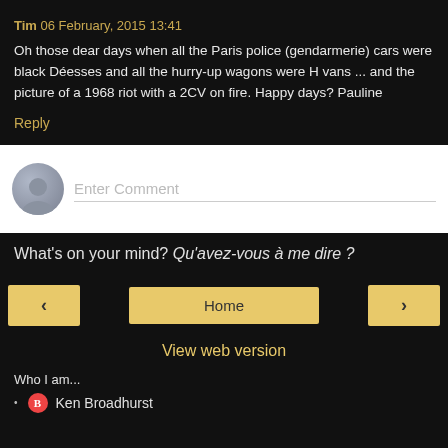Tim 06 February, 2015 13:41
Oh those dear days when all the Paris police (gendarmerie) cars were black Déesses and all the hurry-up wagons were H vans ... and the picture of a 1968 riot with a 2CV on fire. Happy days? Pauline
Reply
[Figure (screenshot): Comment input box with grey avatar silhouette icon and 'Enter Comment' placeholder text]
What's on your mind? Qu'avez-vous à me dire ?
< Home > navigation buttons
View web version
Who I am...
Ken Broadhurst